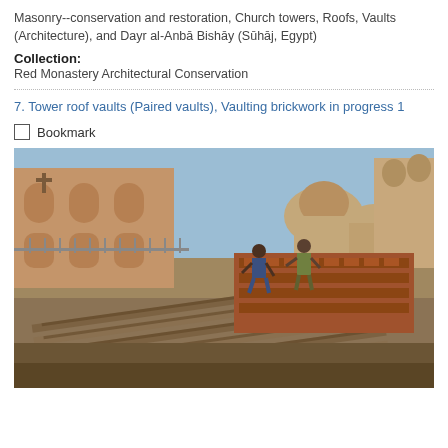Masonry--conservation and restoration, Church towers, Roofs, Vaults (Architecture), and Dayr al-Anbā Bishāy (Sūhāj, Egypt)
Collection: Red Monastery Architectural Conservation
7. Tower roof vaults (Paired vaults), Vaulting brickwork in progress 1
Bookmark
[Figure (photo): Outdoor construction scene at a monastery in Egypt showing workers laying brickwork on tower roof vaults. In the foreground are wooden planks and partially constructed brick vault structures. Workers are bent over working on the masonry. In the background are monastery buildings with arched windows, a cross, domed structures, and arid landscape under a blue sky.]